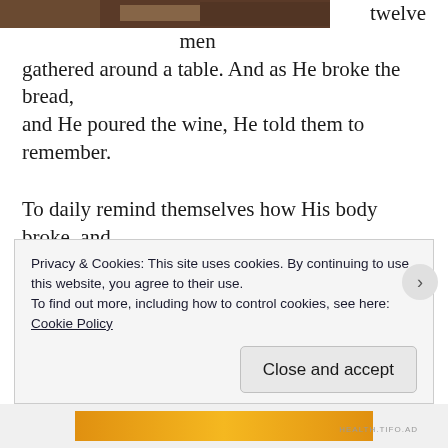[Figure (photo): Partial view of a photo strip at the top of the page, showing a dark/brown image of people gathered around a table]
twelve men gathered around a table. And as He broke the bread, and He poured the wine, He told them to remember.
To daily remind themselves how His body broke, and His blood poured out.
And how their souls will always need nourishment as much as their bodies. And without Him, they'll never
Privacy & Cookies: This site uses cookies. By continuing to use this website, you agree to their use.
To find out more, including how to control cookies, see here:
Cookie Policy
Close and accept